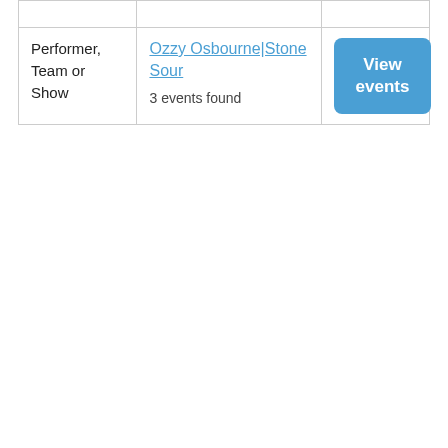|  |  |  |
| Performer, Team or Show | Ozzy Osbourne|Stone Sour
3 events found | View events |